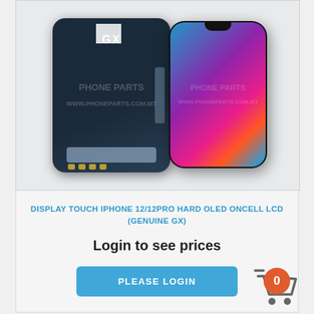[Figure (photo): Product image showing two iPhone 12/12Pro screens: one showing the back/internals (dark, with GX label and QR code), and one showing the front with colorful gradient wallpaper. Watermark: PHONEPARTS / WWW.PHONEPARTS.COM.MT]
DISPLAY TOUCH IPHONE 12/12PRO HARD OLED ONCELL LCD (GENUINE GX)
Login to see prices
PLEASE LOGIN